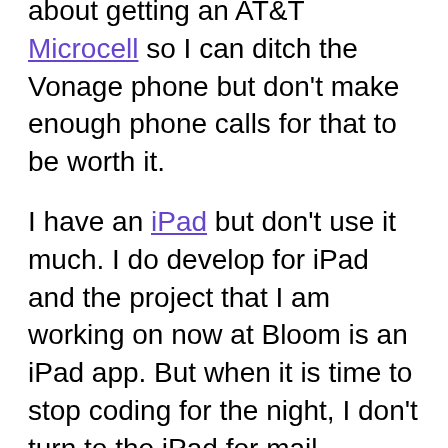about getting an AT&T Microcell so I can ditch the Vonage phone but don't make enough phone calls for that to be worth it.
I have an iPad but don't use it much. I do develop for iPad and the project that I am working on now at Bloom is an iPad app. But when it is time to stop coding for the night, I don't turn to the iPad for mail, Twitter, etc. I usually just grab for my laptop or iPhone. I did just get a DODOcase for the iPad so I have been keeping it close. But old habits die hard and I am definitely habituated to